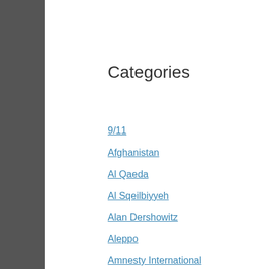Categories
9/11
Afghanistan
Al Qaeda
Al Sqeilbiyyeh
Alan Dershowitz
Aleppo
Amnesty International
Arab Unity
Astra Zeneca
Avaaz
Aya Sophia
Azov
Bahrain